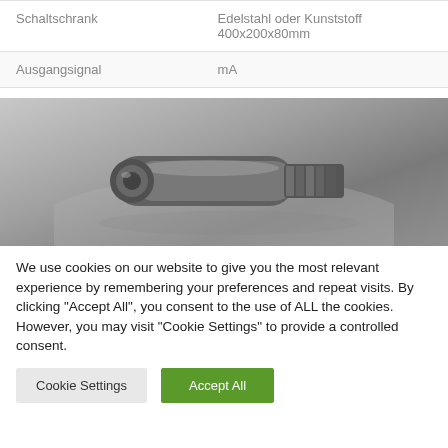| Schaltschrank | Edelstahl oder Kunststoff
400x200x80mm |
| Ausgangsignal | mA |
[Figure (photo): Close-up photo of a metallic industrial sensor or fitting component with threaded end, on a grey background]
We use cookies on our website to give you the most relevant experience by remembering your preferences and repeat visits. By clicking "Accept All", you consent to the use of ALL the cookies. However, you may visit "Cookie Settings" to provide a controlled consent.